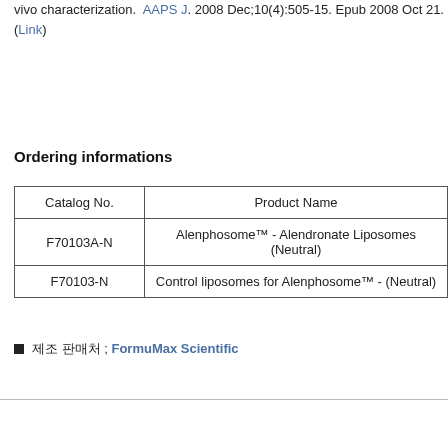6. Epstein H. et al., Preparation of alendronate liposomes for enhanced stability and bioactivity: in vivo characterization. AAPS J. 2008 Dec;10(4):505-15. Epub 2008 Oct 21. (Link)
Ordering informations
| Catalog No. | Product Name |
| --- | --- |
| F70103A-N | Alenphosome™ - Alendronate Liposomes (Neutral) |
| F70103-N | Control liposomes for Alenphosome™ - (Neutral) |
■ 제조 판매처 ; FormuMax Scientific